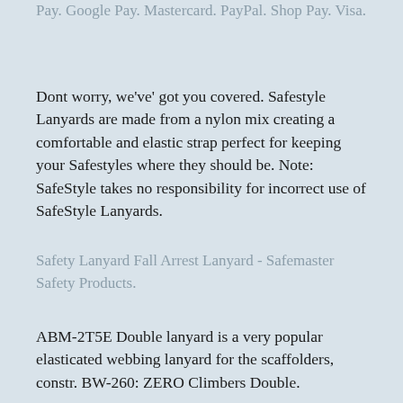Pay. Google Pay. Mastercard. PayPal. Shop Pay. Visa.
Dont worry, we've' got you covered. Safestyle Lanyards are made from a nylon mix creating a comfortable and elastic strap perfect for keeping your Safestyles where they should be. Note: SafeStyle takes no responsibility for incorrect use of SafeStyle Lanyards.
Safety Lanyard Fall Arrest Lanyard - Safemaster Safety Products.
ABM-2T5E Double lanyard is a very popular elasticated webbing lanyard for the scaffolders, constr. BW-260: ZERO Climbers Double.